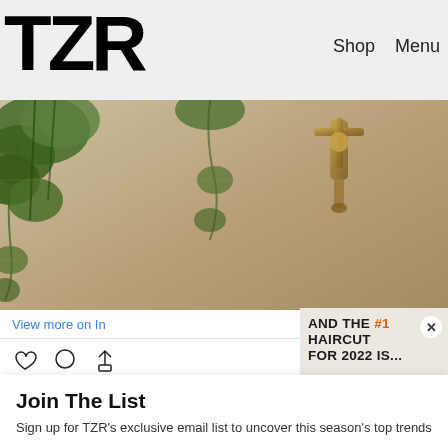TZR — Shop  Menu
[Figure (photo): Bathroom scene with hanging plants and a vintage brass tap fixture on a beige/tan tiled wall]
View more on In
230 likes
oakessentials
The best way to e
view all 6 comme
Add a comment...
AND THE #1 HAIRCUT FOR 2022 IS...
Join The List
Sign up for TZR's exclusive email list to uncover this season's top trends
Email address  Subscribe